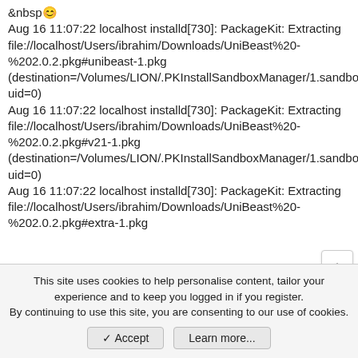&nbsp 😊
Aug 16 11:07:22 localhost installd[730]: PackageKit: Extracting file://localhost/Users/ibrahim/Downloads/UniBeast%20-%202.0.2.pkg#unibeast-1.pkg (destination=/Volumes/LION/.PKInstallSandboxManager/1.sandbox/Root/temp, uid=0)
Aug 16 11:07:22 localhost installd[730]: PackageKit: Extracting file://localhost/Users/ibrahim/Downloads/UniBeast%20-%202.0.2.pkg#v21-1.pkg (destination=/Volumes/LION/.PKInstallSandboxManager/1.sandbox/Root, uid=0)
Aug 16 11:07:22 localhost installd[730]: PackageKit: Extracting file://localhost/Users/ibrahim/Downloads/UniBeast%20-%202.0.2.pkg#extra-1.pkg
This site uses cookies to help personalise content, tailor your experience and to keep you logged in if you register.
By continuing to use this site, you are consenting to our use of cookies.